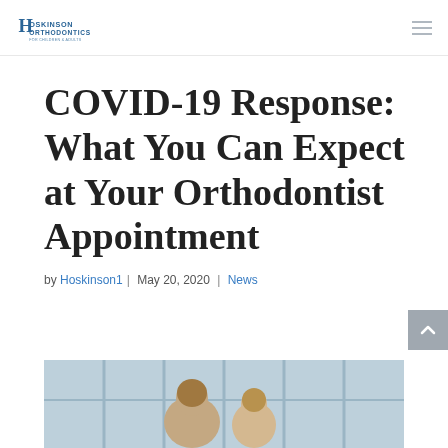Hoskinson Orthodontics
COVID-19 Response: What You Can Expect at Your Orthodontist Appointment
by Hoskinson1 | May 20, 2020 | News
[Figure (photo): Photo of people (patients/staff) visible from behind, standing outside a building with glass windows in the background]